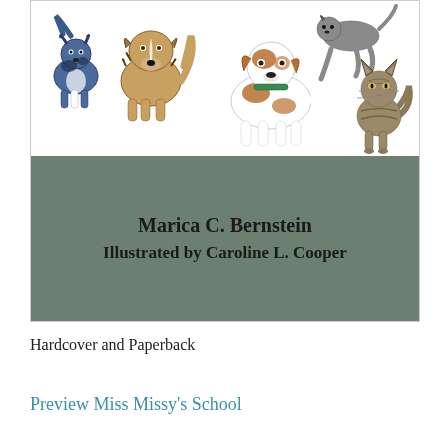[Figure (illustration): Book cover illustration showing several dogs and a cat drawn in watercolor/sketch style. Includes a blue merle dog on the left, a collie-type dog, a spotted Jack Russell terrier-type dog in the center, another dog at top right, and a tabby cat on the far right. White background for the illustration area, with a muted sage green lower portion.]
Marica C. Bernstein
Illustrated by Caroline L. Cooper
Hardcover and Paperback
Preview Miss Missy's School